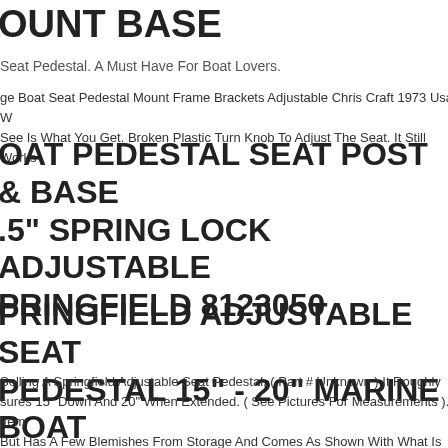OUNT BASE
Seat Pedestal. A Must Have For Boat Lovers.
ge Boat Seat Pedestal Mount Frame Brackets Adjustable Chris Craft 1973 Usa. W See Is What You Get. Broken Plastic Turn Knob To Adjust The Seat. It Still Works
OAT PEDESTAL SEAT POST & BASE .5" SPRING LOCK ADJUSTABLE PRINGFIELD 8123050
PRINGFIELD ADJUSTABLE SEAT PEDESTAL 15" - 20" MARINE BOAT
Selling A Springfield Adjustable Seat Pedestal, ( Part # Unknown ) It Roughly sures 15" Down And 20" When Extended. ( See Pictures For Measurements ). Item But Has A Few Blemishes From Storage And Comes As Shown With What Is Sh ore Information About This Item Please Contact A Dealer In Your Local Area. ( N 40140 ) Shipping Cost Is For The Continental United States (lower 48 States) On